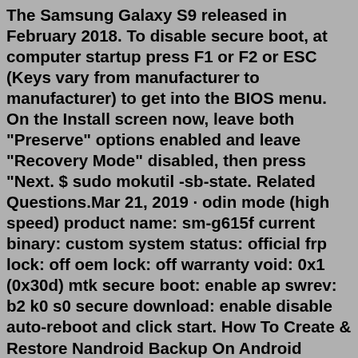The Samsung Galaxy S9 released in February 2018. To disable secure boot, at computer startup press F1 or F2 or ESC (Keys vary from manufacturer to manufacturer) to get into the BIOS menu. On the Install screen now, leave both "Preserve" options enabled and leave "Recovery Mode" disabled, then press "Next. $ sudo mokutil -sb-state. Related Questions.Mar 21, 2019 · odin mode (high speed) product name: sm-g615f current binary: custom system status: official frp lock: off oem lock: off warranty void: 0x1 (0x30d) mtk secure boot: enable ap swrev: b2 k0 s0 secure download: enable disable auto-reboot and click start. How To Create & Restore Nandroid Backup On Android Devices (If you have TWRP recovery / rooted users) 2. INSTALL SAMSUNG GALAXY DRIVERS Download & Install Samsung USB drivers On your PC 3.SETUP ADB & FASTBOOT DRIVERS ON PC Quickest Way To Install Android ADB and Fastboot (with drivers) on Windows How to Install ADB and Fastboot on Mac or Linux 4 : 09/17/2021 10:49:34 PM - RR states, 100 lbs